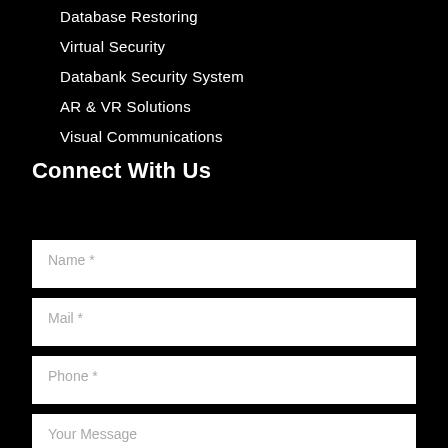Database Restoring
Virtual Security
Databank Security System
AR & VR Solutions
Visual Communications
Connect With Us
Name *
Mail *
Phone *
Your Message